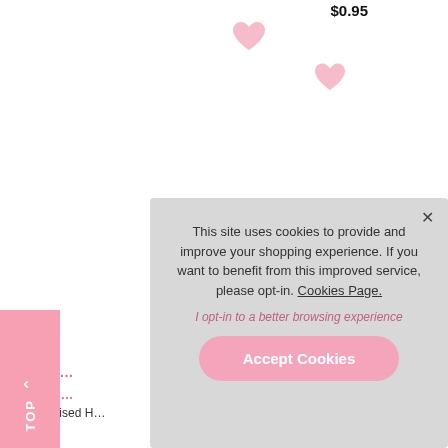$0.95
[Figure (illustration): Pink heart icon, left side near top]
[Figure (illustration): Pink heart icon, right side near top]
[Figure (illustration): TOP scroll button on left side, pink background with arrow and text]
This site uses cookies to provide and improve your shopping experience. If you want to benefit from this improved service, please opt-in. Cookies Page.
I opt-in to a better browsing experience
Accept Cookies
Hen Pa...
Superst...
Personalised H...
...